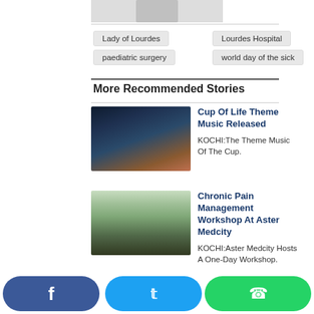[Figure (photo): Partial avatar/profile image at top]
Lady of Lourdes
Lourdes Hospital
paediatric surgery
world day of the sick
More Recommended Stories
[Figure (photo): Group of people on stage at night event, Cup Of Life]
Cup Of Life Theme Music Released
KOCHI:The Theme Music Of The Cup.
[Figure (photo): Aster Medcity hospital building exterior]
Chronic Pain Management Workshop At Aster Medcity
KOCHI:Aster Medcity Hosts A One-Day Workshop.
[Figure (photo): Green trees/building exterior, Muthoot Finance]
Muthoot Finance Pays
[Figure (screenshot): Social share buttons: Facebook, Twitter, WhatsApp]